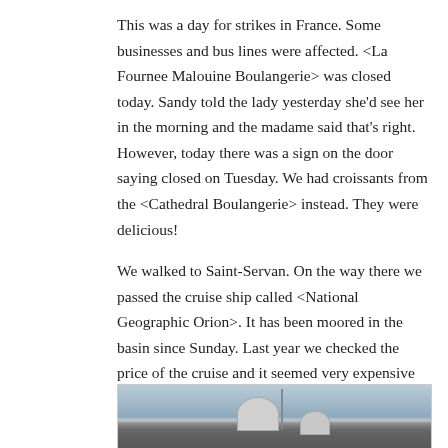This was a day for strikes in France. Some businesses and bus lines were affected. <La Fournee Malouine Boulangerie> was closed today. Sandy told the lady yesterday she'd see her in the morning and the madame said that's right. However, today there was a sign on the door saying closed on Tuesday. We had croissants from the <Cathedral Boulangerie> instead. They were delicious!
We walked to Saint-Servan. On the way there we passed the cruise ship called <National Geographic Orion>. It has been moored in the basin since Sunday. Last year we checked the price of the cruise and it seemed very expensive to us.
[Figure (photo): Photo of the top of a large cruise ship (National Geographic Orion) showing satellite dishes, masts, and communications equipment against a hazy sky.]